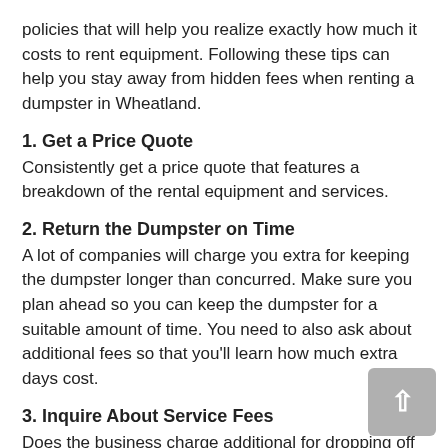policies that will help you realize exactly how much it costs to rent equipment. Following these tips can help you stay away from hidden fees when renting a dumpster in Wheatland.
1. Get a Price Quote
Consistently get a price quote that features a breakdown of the rental equipment and services.
2. Return the Dumpster on Time
A lot of companies will charge you extra for keeping the dumpster longer than concurred. Make sure you plan ahead so you can keep the dumpster for a suitable amount of time. You need to also ask about additional fees so that you'll learn how much extra days cost.
3. Inquire About Service Fees
Does the business charge additional for dropping off or picking up the dumpster? Request to ensure you have a precise quote.